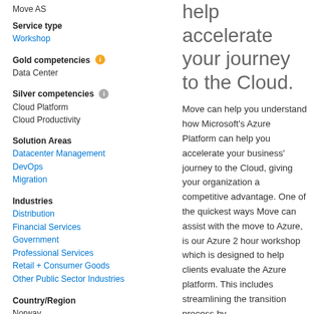Move AS
Service type
Workshop
Gold competencies
Data Center
Silver competencies
Cloud Platform
Cloud Productivity
Solution Areas
Datacenter Management
DevOps
Migration
Industries
Distribution
Financial Services
Government
Professional Services
Retail + Consumer Goods
Other Public Sector Industries
Country/Region
Norway
help accelerate your journey to the Cloud.
Move can help you understand how Microsoft's Azure Platform can help you accelerate your business' journey to the Cloud, giving your organization a competitive advantage. One of the quickest ways Move can assist with the move to Azure, is our Azure 2 hour workshop which is designed to help clients evaluate the Azure platform. This includes streamlining the transition process by